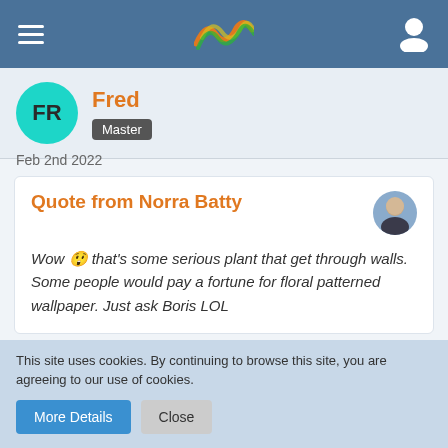Navigation header with hamburger menu, wavy logo, and user icon
[Figure (other): User profile section: teal avatar circle with FR initials, name Fred in orange, Master badge]
Feb 2nd 2022
Quote from Norra Batty
Wow 😲 that's some serious plant that get through walls. Some people would pay a fortune for floral patterned wallpaper. Just ask Boris LOL
🙂
This site uses cookies. By continuing to browse this site, you are agreeing to our use of cookies.
More Details   Close